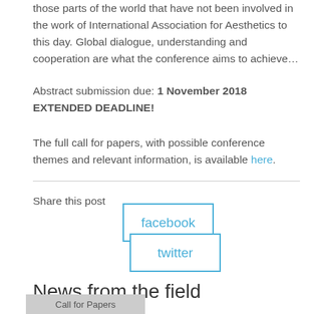those parts of the world that have not been involved in the work of International Association for Aesthetics to this day. Global dialogue, understanding and cooperation are what the conference aims to achieve…
Abstract submission due: 1 November 2018 EXTENDED DEADLINE!
The full call for papers, with possible conference themes and relevant information, is available here.
Share this post
[Figure (other): Facebook share button - blue outlined rectangle with text 'facebook']
[Figure (other): Twitter share button - blue outlined rectangle with text 'twitter']
News from the field
Call for Papers